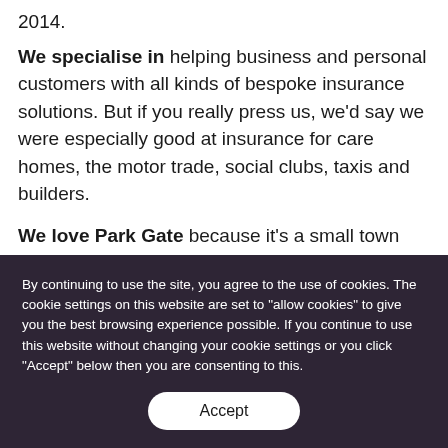2014.
We specialise in helping business and personal customers with all kinds of bespoke insurance solutions. But if you really press us, we'd say we were especially good at insurance for care homes, the motor trade, social clubs, taxis and builders.
We love Park Gate because it's a small town with a great community spirit which we play an active role in. Visit us at the hardware store at
By continuing to use the site, you agree to the use of cookies. The cookie settings on this website are set to "allow cookies" to give you the best browsing experience possible. If you continue to use this website without changing your cookie settings or you click "Accept" below then you are consenting to this.
Accept